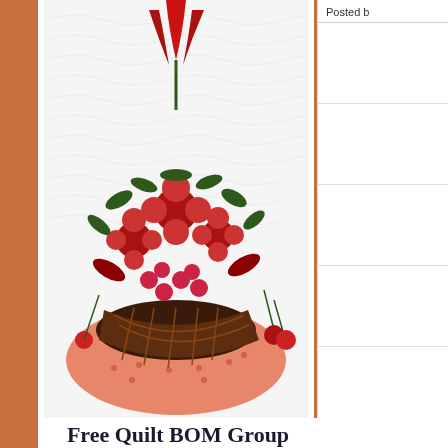[Figure (photo): Quilt block featuring a wicker basket with red flowers, leaves, raspberries, and cherries appliquéd on a white quilted background with feather quilting]
Free Quilt BOM Group
Are you a member yet?
This is the place to download current free BOM patterns, chat with others and share your ideas, tips and pics as you make any of my quilts! My Free BOM Quilt Group is located over on Facebook click th... & Mod...
[Figure (screenshot): Instagram recommended account overlay: Recommended Instagram Account, Esther Aliu, with Follow button]
[Figure (photo): Strip of Instagram photos: beach/ocean, person with quilt, red floral quilt block, pink/red floral quilt block, green floral quilt block]
Love A
X CLOSE
Posted b